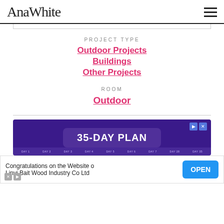AnaWhite
PROJECT TYPE
Outdoor Projects
Buildings
Other Projects
ROOM
Outdoor
[Figure (screenshot): Advertisement banner showing '35-DAY PLAN' on a purple background with day labels along the bottom]
[Figure (screenshot): Bottom advertisement: 'Congratulations on the Website o Linyi Bait Wood Industry Co Ltd' with an OPEN button]